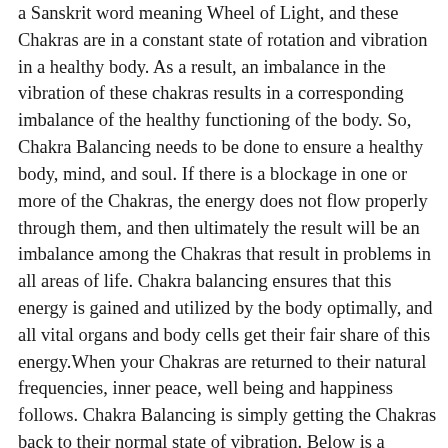a Sanskrit word meaning Wheel of Light, and these Chakras are in a constant state of rotation and vibration in a healthy body. As a result, an imbalance in the vibration of these chakras results in a corresponding imbalance of the healthy functioning of the body. So, Chakra Balancing needs to be done to ensure a healthy body, mind, and soul. If there is a blockage in one or more of the Chakras, the energy does not flow properly through them, and then ultimately the result will be an imbalance among the Chakras that result in problems in all areas of life. Chakra balancing ensures that this energy is gained and utilized by the body optimally, and all vital organs and body cells get their fair share of this energy.When your Chakras are returned to their natural frequencies, inner peace, well being and happiness follows. Chakra Balancing is simply getting the Chakras back to their normal state of vibration. Below is a Chakra sheet that lets you see what happens when the chakras are in balance, over active or under active. Also on this page are the 7 primary Chakra, balancing meditation using Sound frequencies/vibrations of Tibetan Singing Bowls.  Plus a complete Chakra meditation. If you know of a Chakra that's off balance go to that Chakra or simply do the Chakra balancing